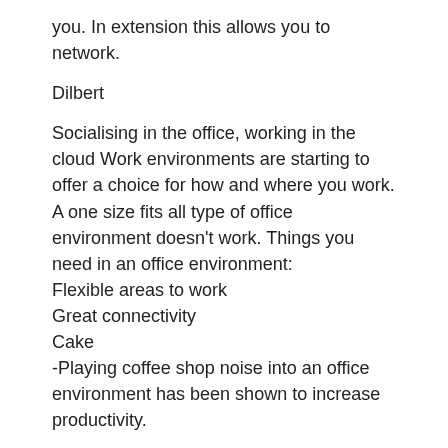you.  In extension this allows you to network.
Dilbert
Socialising in the office, working in the cloud Work environments are starting to offer a choice for how and where you work.  A one size fits all type of office environment doesn't work.  Things you need in an office environment:
Flexible areas to work
Great connectivity
Cake
-Playing coffee shop noise into an office environment has been shown to increase productivity.
The death of distance
Permanently homeworking is hard – providing a hub to allow staff to come in and work helps